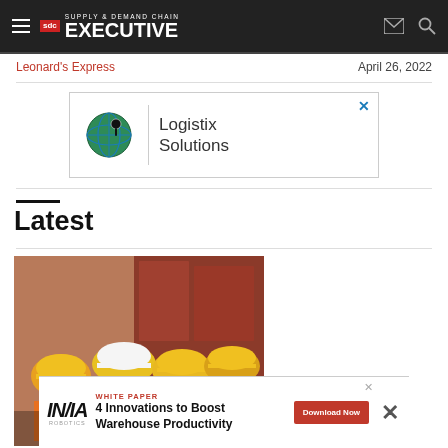SDC Supply & Demand Chain Executive
Leonard's Express — April 26, 2022
[Figure (logo): Logistix Solutions advertisement banner with globe icon and vertical divider]
Latest
[Figure (photo): Four warehouse workers wearing yellow hard hats and black face masks standing together in a warehouse or shipping yard]
[Figure (infographic): INVIA Robotics White Paper ad: 4 Innovations to Boost Warehouse Productivity with Download Now button]